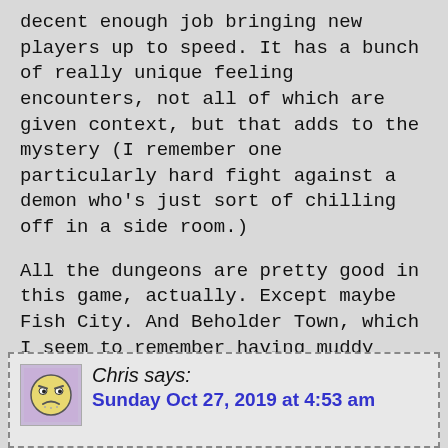decent enough job bringing new players up to speed. It has a bunch of really unique feeling encounters, not all of which are given context, but that adds to the mystery (I remember one particularly hard fight against a demon who's just sort of chilling off in a side room.)
All the dungeons are pretty good in this game, actually. Except maybe Fish City. And Beholder Town, which I seem to remember having muddy textures. And Beholders.
Oh, and the crypts, which have a room literally filled with undead. I could never tell whether that was a bug or not. Good for XP though!
Reply
Chris says: Sunday Oct 27, 2019 at 4:53 am